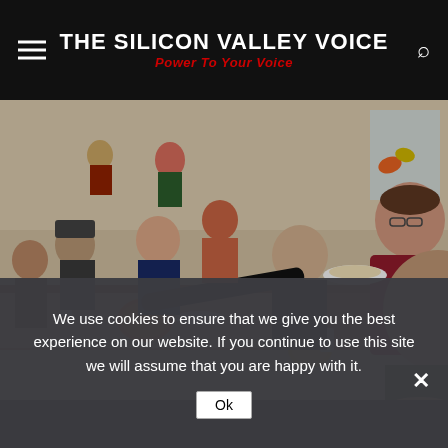THE SILICON VALLEY VOICE
Power To Your Voice
[Figure (photo): Community Thanksgiving dinner event. Elderly people seated at long tables with food, pumpkins, and fall decorations. A woman in a red/maroon top is serving food from a plate to an elderly man. Multiple seniors and volunteers visible in a large hall with festive decorations.]
We use cookies to ensure that we give you the best experience on our website. If you continue to use this site we will assume that you are happy with it.